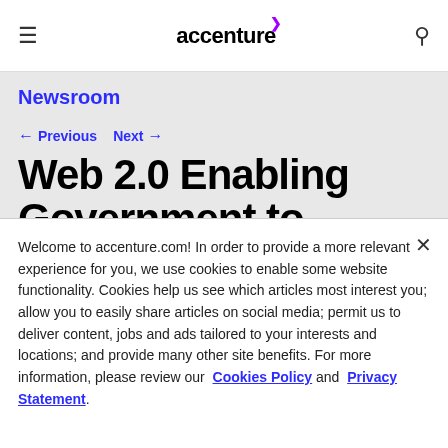accenture
Newsroom
← Previous   Next →
Web 2.0 Enabling Government to Engage and Empower Citi...
Welcome to accenture.com! In order to provide a more relevant experience for you, we use cookies to enable some website functionality. Cookies help us see which articles most interest you; allow you to easily share articles on social media; permit us to deliver content, jobs and ads tailored to your interests and locations; and provide many other site benefits. For more information, please review our Cookies Policy and Privacy Statement.